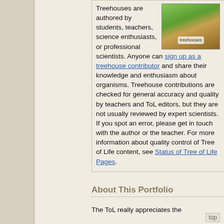Treehouses are authored by students, teachers, science enthusiasts, or professional scientists. Anyone can sign up as a treehouse contributor and share their knowledge and enthusiasm about organisms. Treehouse contributions are checked for general accuracy and quality by teachers and ToL editors, but they are not usually reviewed by expert scientists. If you spot an error, please get in touch with the author or the teacher. For more information about quality control of Tree of Life content, see Status of Tree of Life Pages.
[Figure (illustration): Illustration of a treehouse with a sign reading 'treehouses', set in a tree with green leaves]
About This Portfolio
The ToL really appreciates the